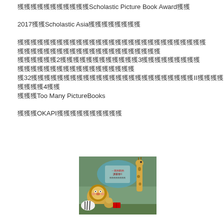獲獲獲獲獲獲獲獲獲獲獲Scholastic Picture Book Award獲獲
2017獲獲Scholastic Asia獲獲獲獲獲獲獲獲
獲獲獲獲獲獲獲獲獲獲獲獲獲獲獲獲獲獲獲獲獲獲獲獲獲獲獲獲獲獲獲獲獲獲獲獲獲獲獲獲獲獲獲獲獲獲獲獲獲獲獲
獲獲獲獲獲獲2獲獲獲獲獲獲獲獲獲獲獲獲3獲獲獲獲獲獲獲獲獲獲獲獲獲獲獲獲獲獲獲獲獲獲獲獲獲獲獲
獲32獲獲獲獲獲獲獲獲獲獲獲獲獲獲獲獲獲獲獲獲獲獲獲獲獲II獲獲獲獲獲獲獲獲4獲獲
獲獲獲Too Many PictureBooks
獲獲獲OKAPI獲獲獲獲獲獲獲獲獲獲
[Figure (photo): Book cover showing illustrated animals including a lion, giraffe, and other animals, with Chinese text on the cover reading 一家的獸的讀書會II]